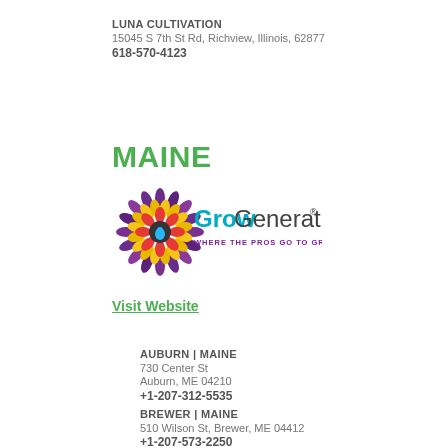LUNA CULTIVATION
15045 S 7th St Rd, Richview, Illinois, 62877
618-570-4123
MAINE
[Figure (logo): GrowGeneration logo with sunflower graphic and tagline WHERE THE PROS GO TO GROW]
Visit Website
AUBURN | MAINE
730 Center St
Auburn, ME 04210
+1-207-312-5535
BREWER | MAINE
510 Wilson St, Brewer, ME 04412
+1-207-573-2250